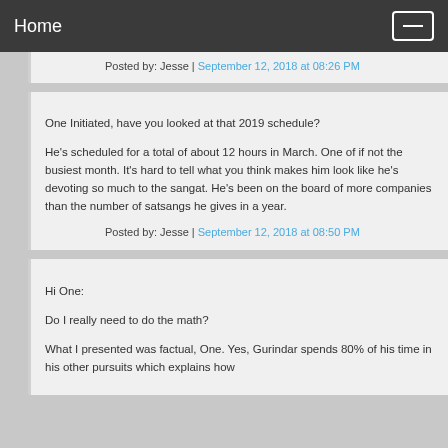Home
Posted by: Jesse | September 12, 2018 at 08:26 PM
One Initiated, have you looked at that 2019 schedule?

He's scheduled for a total of about 12 hours in March. One of if not the busiest month. It's hard to tell what you think makes him look like he's devoting so much to the sangat. He's been on the board of more companies than the number of satsangs he gives in a year.
Posted by: Jesse | September 12, 2018 at 08:50 PM
Hi One:

Do I really need to do the math?

What I presented was factual, One. Yes, Gurindar spends 80% of his time in his other pursuits which explains how